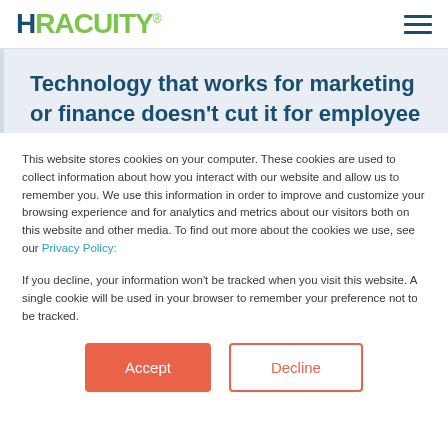HRACUITY
Technology that works for marketing or finance doesn't cut it for employee relations. ER
This website stores cookies on your computer. These cookies are used to collect information about how you interact with our website and allow us to remember you. We use this information in order to improve and customize your browsing experience and for analytics and metrics about our visitors both on this website and other media. To find out more about the cookies we use, see our Privacy Policy:
If you decline, your information won't be tracked when you visit this website. A single cookie will be used in your browser to remember your preference not to be tracked.
Accept  Decline